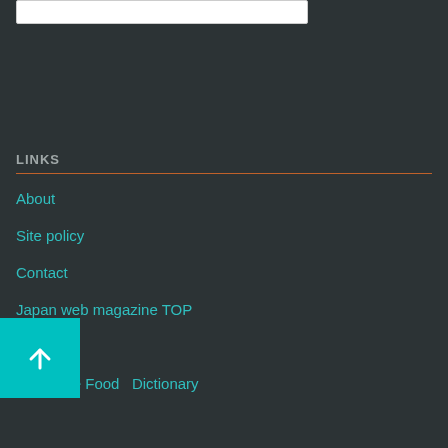LINKS
About
Site policy
Contact
Japan web magazine TOP
Site Map
Japanese Food   Dictionary
[Figure (other): Back to top button with upward arrow on cyan/teal background]